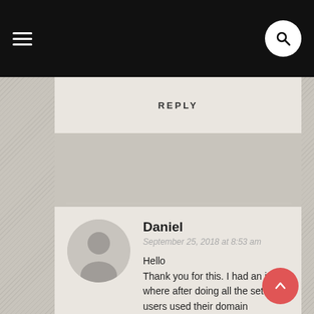REPLY
Daniel
September 25, 2018 at 8:53 am

Hello
Thank you for this. I had an issue where after doing all the setup users used their domain credentials and still could not connect to any of the AP, it kept bringing up the login page. Now using your guide one thing i didn't do was install a certificate.
So what do you suggest, do I